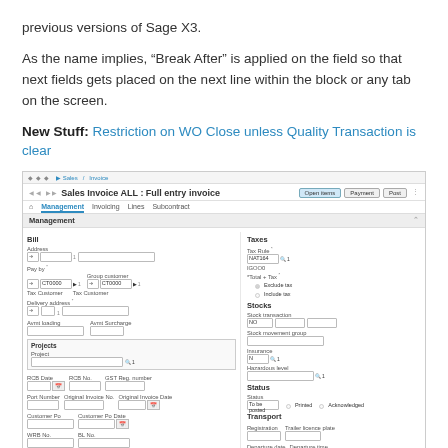previous versions of Sage X3.
As the name implies, “Break After” is applied on the field so that next fields gets placed on the next line within the block or any tab on the screen.
New Stuff: Restriction on WO Close unless Quality Transaction is clear
[Figure (screenshot): Screenshot of Sage X3 Sales Invoice ALL: Full entry invoice form showing Management tab with fields for ID, address, pay-by, group customer, tax customer, delivery address, Avmt loading, Avmt Surcharge, Projects section, Project, RCB Date, RCB No., GST Reg. number, Port Number, Original Invoice No., Original Invoice Date, Customer Po, Customer Po Date, WRB No., BL No., Other References on the left; and Taxes section, Tax Rule, GOOO, Total + Tax, Stock Transaction, Stock movement group, Insurance, Hazardous level, Status, Transport, Registration, Trailer licence plate, Departure date, Departure time on the right.]